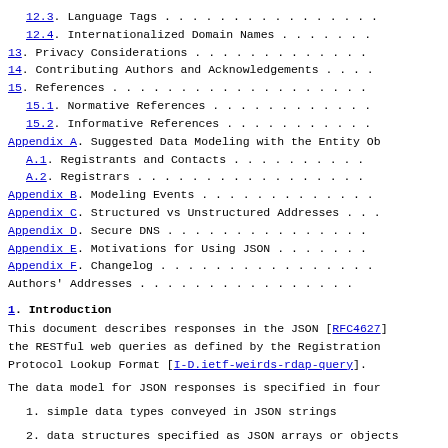12.3. Language Tags . . . . . . . . . . . . . . .
12.4. Internationalized Domain Names . . . . . .
13. Privacy Considerations . . . . . . . . . . .
14. Contributing Authors and Acknowledgements . .
15. References . . . . . . . . . . . . . . . . .
15.1. Normative References . . . . . . . . . . .
15.2. Informative References . . . . . . . . . .
Appendix A. Suggested Data Modeling with the Entity Ob
A.1. Registrants and Contacts . . . . . . . . .
A.2. Registrars . . . . . . . . . . . . . . . .
Appendix B. Modeling Events . . . . . . . . . .
Appendix C. Structured vs Unstructured Addresses . .
Appendix D. Secure DNS . . . . . . . . . . . .
Appendix E. Motivations for Using JSON . . . . .
Appendix F. Changelog . . . . . . . . . . . . .
Authors' Addresses . . . . . . . . . . . . . .
1. Introduction
This document describes responses in the JSON [RFC4627] the RESTful web queries as defined by the Registration Protocol Lookup Format [I-D.ietf-weirds-rdap-query].
The data model for JSON responses is specified in four
1. simple data types conveyed in JSON strings
2. data structures specified as JSON arrays or objects repeatedly when building up larger objects